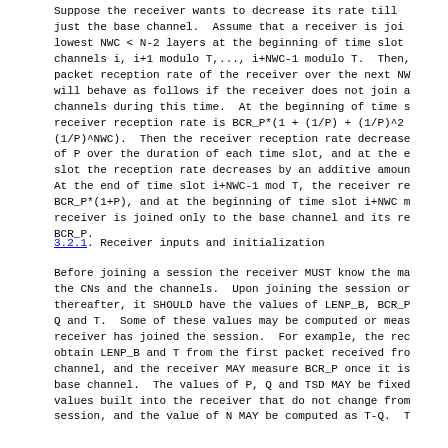Suppose the receiver wants to decrease its rate till just the base channel.  Assume that a receiver is joining lowest NWC < N-2 layers at the beginning of time slot channels i, i+1 modulo T,..., i+NWC-1 modulo T.  Then, packet reception rate of the receiver over the next NW will behave as follows if the receiver does not join a channels during this time.  At the beginning of time s receiver reception rate is BCR_P*(1 + (1/P) + (1/P)^2 (1/P)^NWC).  Then the receiver reception rate decrease of P over the duration of each time slot, and at the e slot the reception rate decreases by an additive amoun At the end of time slot i+NWC-1 mod T, the receiver re BCR_P*(1+P), and at the beginning of time slot i+NWC m receiver is joined only to the base channel and its re BCR_P.
3.2.1.  Receiver inputs and initialization
Before joining a session the receiver MUST know the ma the CNs and the channels.  Upon joining the session or thereafter, it SHOULD have the values of LENP_B, BCR_P Q and T.  Some of these values may be computed or meas receiver has joined the session.  For example, the rec obtain LENP_B and T from the first packet received fro channel, and the receiver MAY measure BCR_P once it is base channel.  The values of P, Q and TSD MAY be fixed values built into the receiver that do not change from session, and the value of N MAY be computed as T-Q.  T